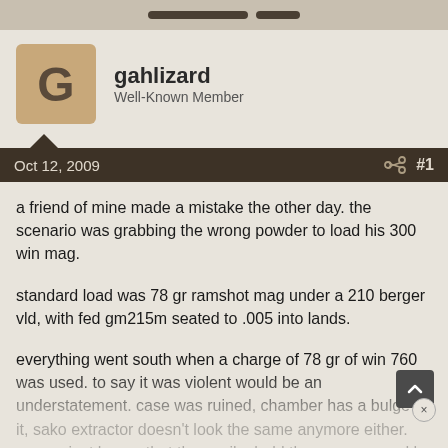[navigation bar with buttons]
gahlizard
Well-Known Member
Oct 12, 2009  #1
a friend of mine made a mistake the other day. the scenario was grabbing the wrong powder to load his 300 win mag.
standard load was 78 gr ramshot mag under a 210 berger vld, with fed gm215m seated to .005 into lands.
everything went south when a charge of 78 gr of win 760 was used. to say it was violent would be an understatement. case was ruined, chamber has a bulge in it, sako extractor doesn't look the same anymore either. we are just happy that the nesika held the pressure and he is just looking at clean up the chamber with an ultra reamer instead of visiting him in the hospital.